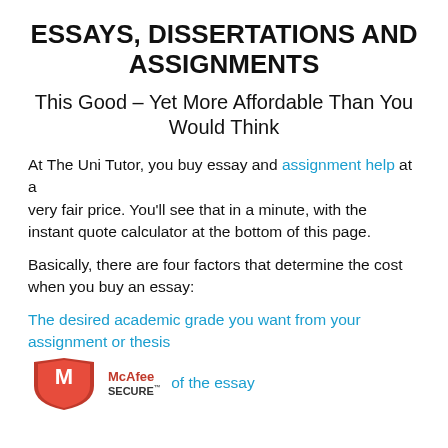ESSAYS, DISSERTATIONS AND ASSIGNMENTS
This Good – Yet More Affordable Than You Would Think
At The Uni Tutor, you buy essay and assignment help at a very fair price. You'll see that in a minute, with the instant quote calculator at the bottom of this page.
Basically, there are four factors that determine the cost when you buy an essay:
The desired academic grade you want from your assignment or thesis
[Figure (logo): McAfee SECURE badge logo]
of the essay